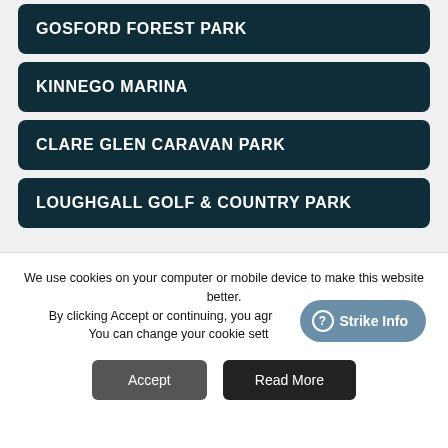GOSFORD FOREST PARK
KINNEGO MARINA
CLARE GLEN CARAVAN PARK
LOUGHGALL GOLF & COUNTRY PARK
We use cookies on your computer or mobile device to make this website better.
By clicking Accept or continuing, you agree to our cookie policy.
You can change your cookie settings at any time.
Strike Info
Accept
Read More